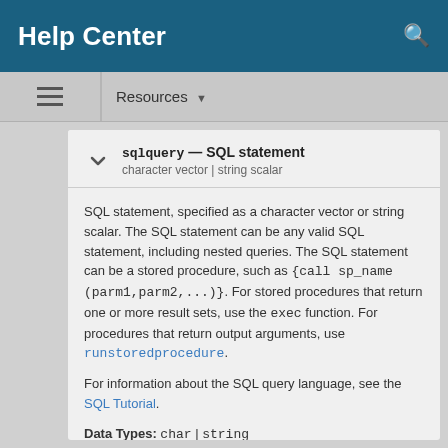Help Center
Resources ▾
sqlquery — SQL statement
character vector | string scalar
SQL statement, specified as a character vector or string scalar. The SQL statement can be any valid SQL statement, including nested queries. The SQL statement can be a stored procedure, such as {call sp_name (parm1,parm2,...)}. For stored procedures that return one or more result sets, use the exec function. For procedures that return output arguments, use runstoredprocedure.

For information about the SQL query language, see the SQL Tutorial.

Data Types: char | string